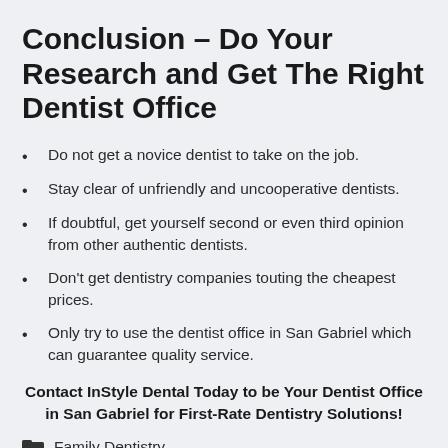Conclusion – Do Your Research and Get The Right Dentist Office
Do not get a novice dentist to take on the job.
Stay clear of unfriendly and uncooperative dentists.
If doubtful, get yourself second or even third opinion from other authentic dentists.
Don't get dentistry companies touting the cheapest prices.
Only try to use the dentist office in San Gabriel which can guarantee quality service.
Contact InStyle Dental Today to be Your Dentist Office in San Gabriel for First-Rate Dentistry Solutions!
Family Dentistry